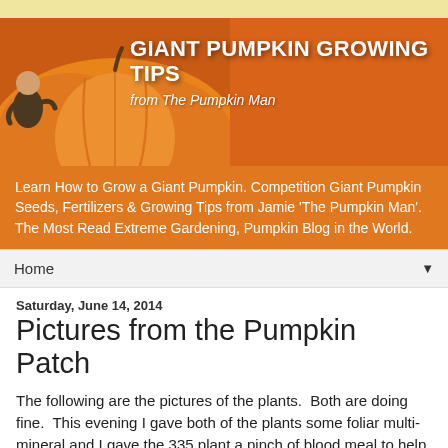[Figure (illustration): Giant Pumpkin Growing Tips banner from The Pumpkin Man — orange background with a large pumpkin and a child, bold white text for the title and subtitle]
Learn How to Grow a Giant Pumpkin. Competition Giant Pumpkin Seeds, Fertilizers & Growing Tips from Jamie 'The Pumpkin Man'. The Most Read Extreme Gardening, Pumpkin Blog in the World.
Home ▼
Saturday, June 14, 2014
Pictures from the Pumpkin Patch
The following are the pictures of the plants.  Both are doing fine.  This evening I gave both of the plants some foliar multi-mineral and I gave the 335 plant a pinch of blood meal to help the side vines grow a little faster.